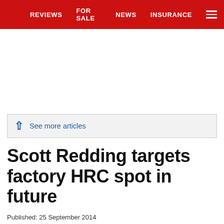REVIEWS   FOR SALE   NEWS   INSURANCE
See more articles
Scott Redding targets factory HRC spot in future
Published: 25 September 2014
Updated: 24 November 2014
1 of 1